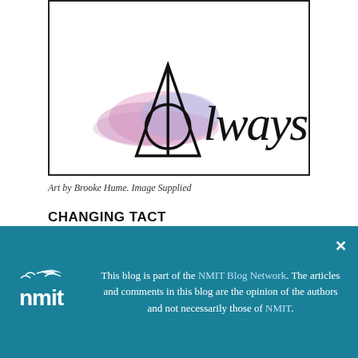[Figure (illustration): Artwork showing the Deathly Hallows symbol (triangle with circle and vertical line) beside watercolor paint splash in pink and blue, with cursive text reading 'Always']
Art by Brooke Hume. Image Supplied
CHANGING TACT
Brooke Hume has returned to her old stomping ground. She left New Zealand at the young age of 18, heading to Murray Bridge, a small town
This blog is part of the NMIT Blog Network. The articles and comments in this blog are the opinion of the authors and not necessarily those of NMIT.